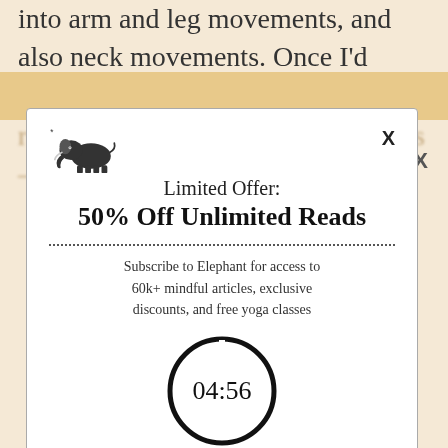into arm and leg movements, and also neck movements. Once I’d awoken the body into
readiness, I’d drop down into stillness — sitting, absolute, still.
[Figure (screenshot): Elephant Journal subscription modal popup with elephant logo, 'Limited Offer: 50% Off Unlimited Reads' heading, dotted divider, subscription description text, and countdown timer showing 04:56]
Limited Offer:
50% Off Unlimited Reads
Subscribe to Elephant for access to 60k+ mindful articles, exclusive discounts, and free yoga classes
04:56